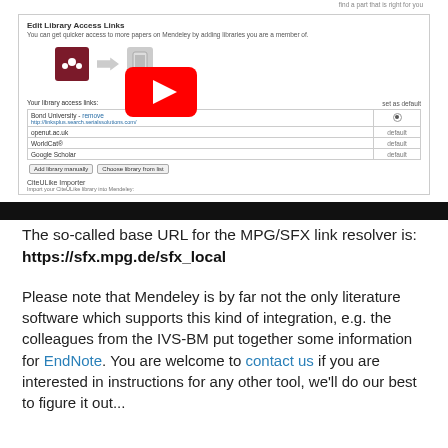[Figure (screenshot): Screenshot of Mendeley 'Edit Library Access Links' settings page showing library access links table with Bond University, openut.ac.uk, WorldCat, Google Scholar entries, buttons to Add library manually and Choose library from list, CiteULike Importer section, and a YouTube play button overlay on top of a phone/device icon]
The so-called base URL for the MPG/SFX link resolver is:
https://sfx.mpg.de/sfx_local
Please note that Mendeley is by far not the only literature software which supports this kind of integration, e.g. the colleagues from the IVS-BM put together some information for EndNote. You are welcome to contact us if you are interested in instructions for any other tool, we’ll do our best to figure it out...